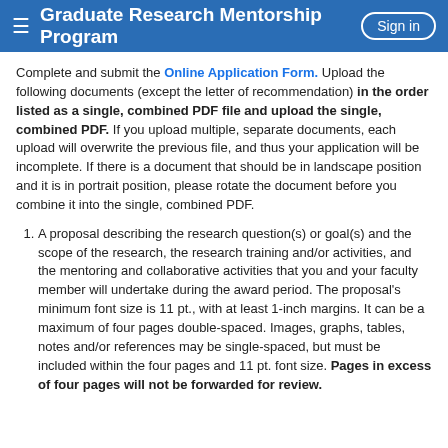Graduate Research Mentorship Program
Complete and submit the Online Application Form. Upload the following documents (except the letter of recommendation) in the order listed as a single, combined PDF file and upload the single, combined PDF. If you upload multiple, separate documents, each upload will overwrite the previous file, and thus your application will be incomplete. If there is a document that should be in landscape position and it is in portrait position, please rotate the document before you combine it into the single, combined PDF.
A proposal describing the research question(s) or goal(s) and the scope of the research, the research training and/or activities, and the mentoring and collaborative activities that you and your faculty member will undertake during the award period. The proposal's minimum font size is 11 pt., with at least 1-inch margins. It can be a maximum of four pages double-spaced. Images, graphs, tables, notes and/or references may be single-spaced, but must be included within the four pages and 11 pt. font size. Pages in excess of four pages will not be forwarded for review.